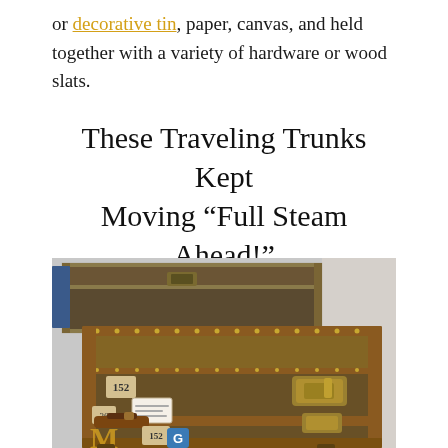or decorative tin, paper, canvas, and held together with a variety of hardware or wood slats.
These Traveling Trunks Kept Moving “Full Steam Ahead!”
[Figure (photo): Photograph of vintage Louis Vuitton steamer trunks with monogram canvas, brown leather trim, brass hardware and studs, with luggage tags visible.]